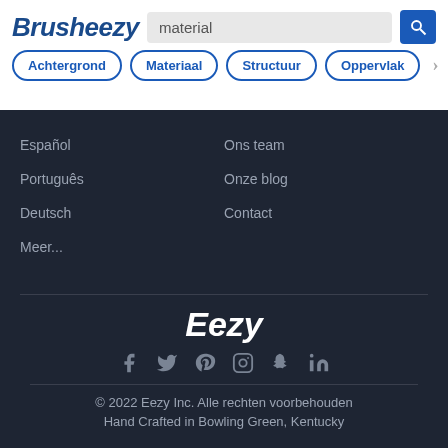Brusheezy
material
Achtergrond
Materiaal
Structuur
Oppervlak
Español
Ons team
Português
Onze blog
Deutsch
Contact
Meer...
Eezy
[Figure (infographic): Social media icons: Facebook, Twitter, Pinterest, Instagram, Snapchat, LinkedIn]
© 2022 Eezy Inc. Alle rechten voorbehouden
Hand Crafted in Bowling Green, Kentucky